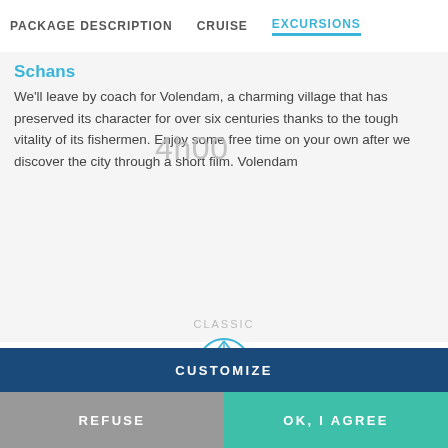PACKAGE DESCRIPTION   CRUISE   EXCURSIONS
Schans
We'll leave by coach for Volendam, a charming village that has preserved its character for over six centuries thanks to the tough vitality of its fishermen. Enjoy some free time on your own after we discover the city through a short film. Volendam
4h00
CLASSIC
[Figure (illustration): Shell/sea-shell logo icon outline]
We use cookies on this site to enhance your user experience. By clicking any link on this page you are giving your consent for us to set cookies. For more details, click on "Learn more".
CUSTOMIZE
REFUSE
OK, I AGREE